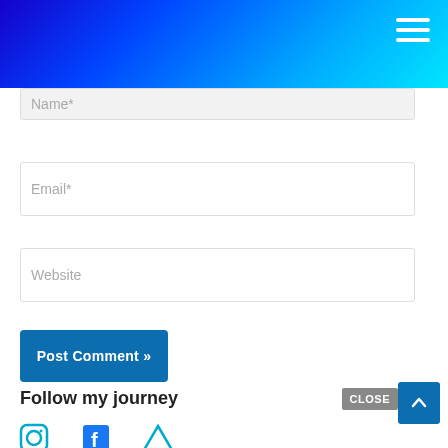[Figure (screenshot): Website header with blue-to-cyan gradient background and hamburger menu icon in top right corner]
Name*
Email*
Website
Post Comment »
Follow my journey
CLOSE
[Figure (infographic): Social media icons row: Instagram, Facebook, and another icon]